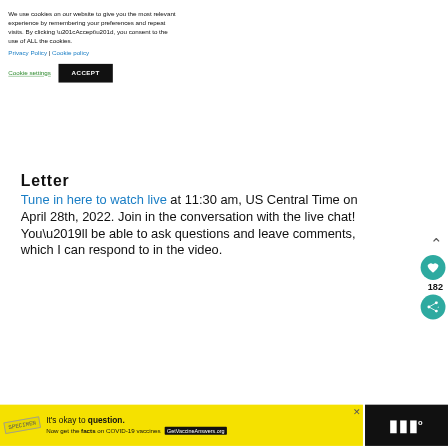We use cookies on our website to give you the most relevant experience by remembering your preferences and repeat visits. By clicking “Accept”, you consent to the use of ALL the cookies.
Privacy Policy | Cookie policy
Cookie settings   ACCEPT
Letter
Tune in here to watch live at 11:30 am, US Central Time on April 28th, 2022. Join in the conversation with the live chat! You’ll be able to ask questions and leave comments, which I can respond to in the video.
[Figure (infographic): COVID-19 vaccine advertisement banner: 'It’s okay to question. Now get the facts on COVID-19 vaccines. GetVaccineAnswers.org']